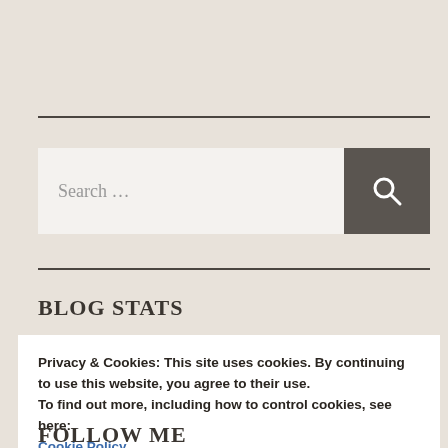[Figure (other): Search bar with text input field showing 'Search ...' placeholder and a dark grey search button with magnifying glass icon]
BLOG STATS
Privacy & Cookies: This site uses cookies. By continuing to use this website, you agree to their use.
To find out more, including how to control cookies, see here:
Cookie Policy
Close and accept
FOLLOW ME